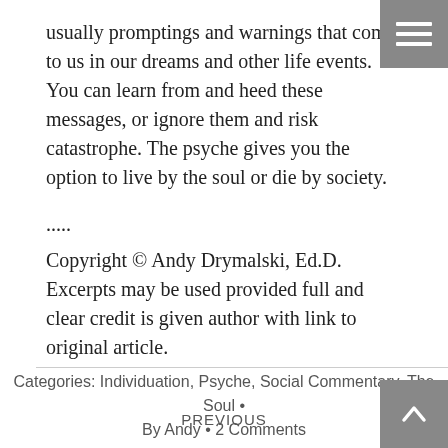usually promptings and warnings that come to us in our dreams and other life events. You can learn from and heed these messages, or ignore them and risk catastrophe. The psyche gives you the option to live by the soul or die by society.
.....
Copyright © Andy Drymalski, Ed.D. Excerpts may be used provided full and clear credit is given author with link to original article.
Categories: Individuation, Psyche, Social Commentary, The Soul • By Andy • 2 Comments
PREVIOUS